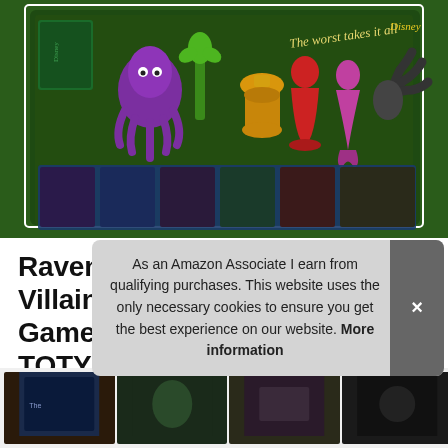[Figure (photo): Ravensburger Disney Villainous board game product photo showing colorful villain figurines (purple octopus, green plant, gold chalice, red dress, pink figurine, black claw) and game cards on a dark green game board with text 'The worst takes it all']
Ravensburger Disney Villainous Strategy Board Game for Age 10 & Up, 2019 TOTY Game of The Year Award Winner
As an Amazon Associate I earn from qualifying purchases. This website uses the only necessary cookies to ensure you get the best experience on our website. More information
#ad
[Figure (photo): Bottom strip of thumbnail images related to the product]